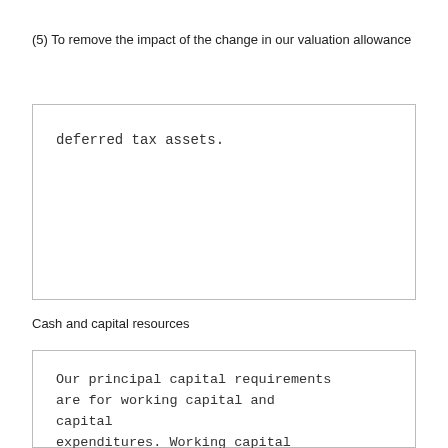(5) To remove the impact of the change in our valuation allowance
deferred tax assets.
Cash and capital resources
Our principal capital requirements are for working capital and capital expenditures. Working capital consists mainly of merchandise